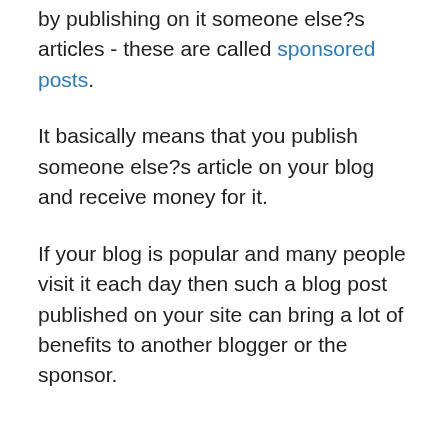by publishing on it someone else?s articles - these are called sponsored posts.
It basically means that you publish someone else?s article on your blog and receive money for it.
If your blog is popular and many people visit it each day then such a blog post published on your site can bring a lot of benefits to another blogger or the sponsor.
Email marketing ? start building your list of subscribers